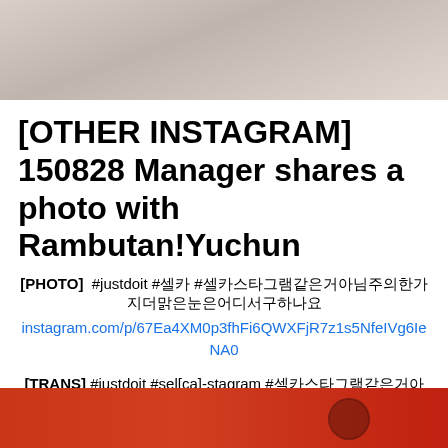[Figure (photo): Top portion of a photo showing a person, cropped at the top of the page]
[OTHER INSTAGRAM] 150828 Manager shares a photo with Rambutan!Yuchun
[PHOTO]  #justdoit #셀카 #셀카스타그램같은거아님주의한가지더맑은눈은어디서구하나요
instagram.com/p/67Ea4XM0p3fhFi6QWXFjR7z1s5NfeIVg6IeNA0
[TRANS] #justdoit #sel[ca]-stagram #thisisnotaselcastagramwarningwhereoneearthcanyougetthosecleareyes
[Figure (photo): Bottom portion showing a person in red clothing, partially visible]